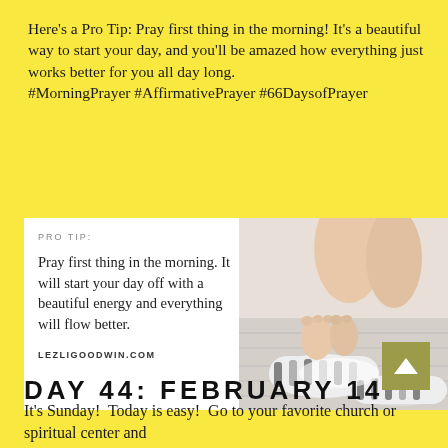Here's a Pro Tip: Pray first thing in the morning! It's a beautiful way to start your day, and you'll be amazed how everything just works better for you all day long.
#MorningPrayer #AffirmativePrayer #66DaysofPrayer
[Figure (photo): Promotional card with white background showing bare feet stepping into striped slippers on a wood floor. Left side text reads 'PRO TIP: Pray first thing in the morning. It will start your day off with a beautiful energy and everything will flow better.' Bottom text: LEZLIGOODWIN.COM]
DAY 44: FEBRUARY 14
It's Sunday!  Today is easy!  Go to your favorite church or spiritual center and